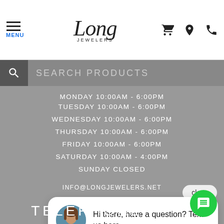MENU | Long Jewelers
SEARCH PRODUCTS
MONDAY 10:00AM - 6:00PM
TUESDAY 10:00AM - 6:00PM
WEDNESDAY 10:00AM - 6:00PM
THURSDAY 10:00AM - 6:00PM
FRIDAY 10:00AM - 6:00PM
SATURDAY 10:00AM - 4:00PM
SUNDAY CLOSED
close
Hi there, have a question? Text us here.
INFO@LONGJEWELERS.NET
TELEPHONE